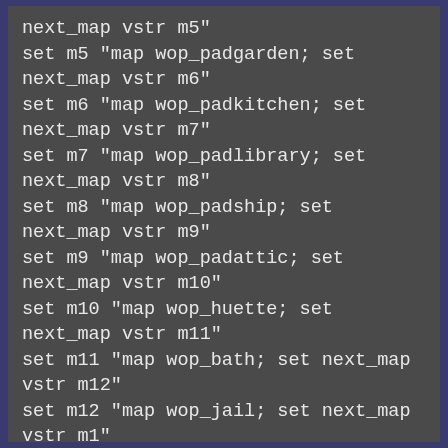next_map vstr m5"
set m5 "map wop_padgarden; set next_map vstr m6"
set m6 "map wop_padkitchen; set next_map vstr m7"
set m7 "map wop_padlibrary; set next_map vstr m8"
set m8 "map wop_padship; set next_map vstr m9"
set m9 "map wop_padattic; set next_map vstr m10"
set m10 "map wop_huette; set next_map vstr m11"
set m11 "map wop_bath; set next_map vstr m12"
set m12 "map wop_jail; set next_map vstr m1"